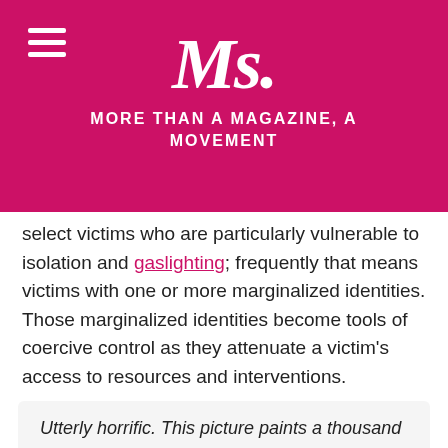Ms. MORE THAN A MAGAZINE, A MOVEMENT
select victims who are particularly vulnerable to isolation and gaslighting; frequently that means victims with one or more marginalized identities. Those marginalized identities become tools of coercive control as they attenuate a victim's access to resources and interventions.
Utterly horrific. This picture paints a thousand words. We had to talk about it. We just finished recording a special episode about Gabby Petito, analyzing the body cam footage, behaviour & events as they have unfolded. Drops tomorrow #HerNameWasGabbyPetito